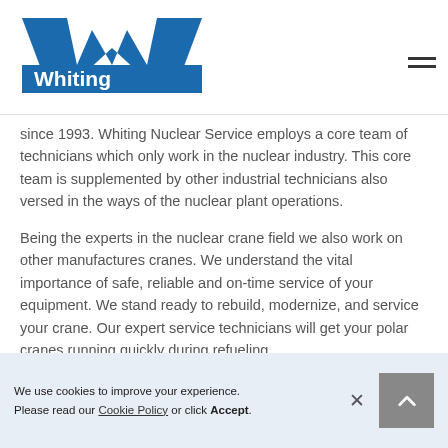[Figure (logo): Whiting company logo — bold blue W shape with 'Whiting' text in white on blue background]
since 1993. Whiting Nuclear Service employs a core team of technicians which only work in the nuclear industry. This core team is supplemented by other industrial technicians also versed in the ways of the nuclear plant operations.
Being the experts in the nuclear crane field we also work on other manufactures cranes. We understand the vital importance of safe, reliable and on-time service of your equipment. We stand ready to rebuild, modernize, and service your crane. Our expert service technicians will get your polar cranes running quickly during refueling
We use cookies to improve your experience. Please read our Cookie Policy or click Accept.